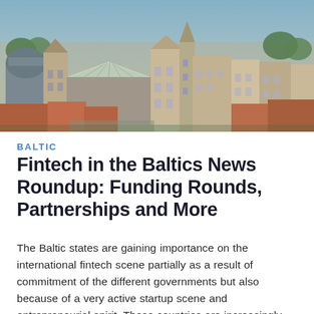[Figure (photo): Aerial/bird's-eye view of a Baltic city (likely Riga or similar), showing historic architecture with colorful rooftops, a central market area with glass canopy structures, dense urban buildings, and green trees.]
BALTIC
Fintech in the Baltics News Roundup: Funding Rounds, Partnerships and More
The Baltic states are gaining importance on the international fintech scene partially as a result of commitment of the different governments but also because of a very active startup scene and entrepreneurial spirit. These countries are increasingly being recognized as